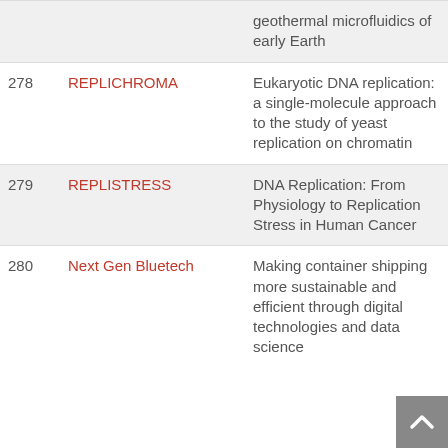| # | Name | Description |
| --- | --- | --- |
|  |  | geothermal microfluidics of early Earth |
| 278 | REPLICHROMA | Eukaryotic DNA replication: a single-molecule approach to the study of yeast replication on chromatin |
| 279 | REPLISTRESS | DNA Replication: From Physiology to Replication Stress in Human Cancer |
| 280 | Next Gen Bluetech | Making container shipping more sustainable and efficient through digital technologies and data science |